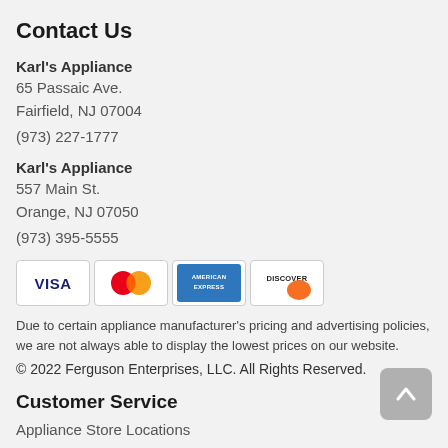Contact Us
Karl's Appliance
65 Passaic Ave.
Fairfield, NJ 07004
(973) 227-1777
Karl's Appliance
557 Main St.
Orange, NJ 07050
(973) 395-5555
[Figure (illustration): Payment card logos: VISA, Mastercard, American Express, Discover]
Due to certain appliance manufacturer's pricing and advertising policies, we are not always able to display the lowest prices on our website.
© 2022 Ferguson Enterprises, LLC. All Rights Reserved.
Customer Service
Appliance Store Locations